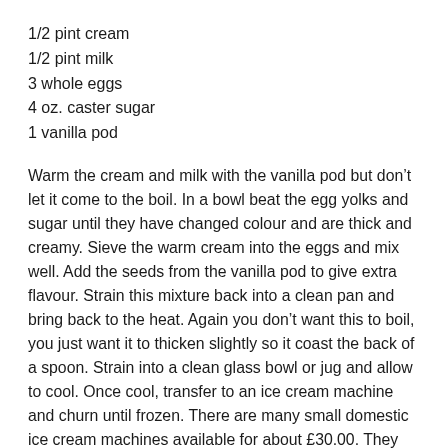1/2 pint cream
1/2 pint milk
3 whole eggs
4 oz. caster sugar
1 vanilla pod
Warm the cream and milk with the vanilla pod but don’t let it come to the boil. In a bowl beat the egg yolks and sugar until they have changed colour and are thick and creamy. Sieve the warm cream into the eggs and mix well. Add the seeds from the vanilla pod to give extra flavour. Strain this mixture back into a clean pan and bring back to the heat. Again you don’t want this to boil, you just want it to thicken slightly so it coast the back of a spoon. Strain into a clean glass bowl or jug and allow to cool. Once cool, transfer to an ice cream machine and churn until frozen. There are many small domestic ice cream machines available for about £30.00. They don’t have the same power as an ice cream shop machine so the mixture won’t beat as well so there may be a slight icy grain but the flavour will be rich, creamy and as good as The Ritz Café in Millport!